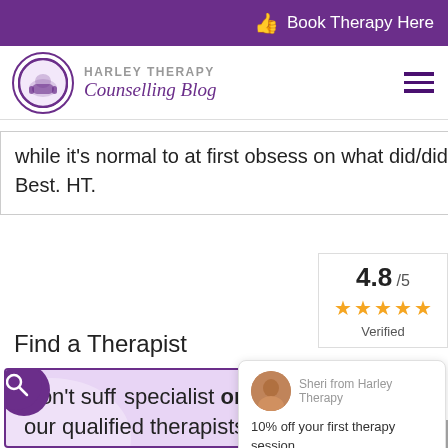Book Therapy Here
[Figure (logo): Harley Therapy logo circle with armchair illustration]
HARLEY THERAPY Counselling Blog
while it's normal to at first obsess on what did/didn't happen in the long term it is not helpful. Best. HT.
4.8 / 5 ★★★★★ Verified
Find a Therapist
Sheri from Harley Therapy
10% off your first therapy session
Need a personalised answer to…
Don't suff specialist online therapy with our qualified therapists today